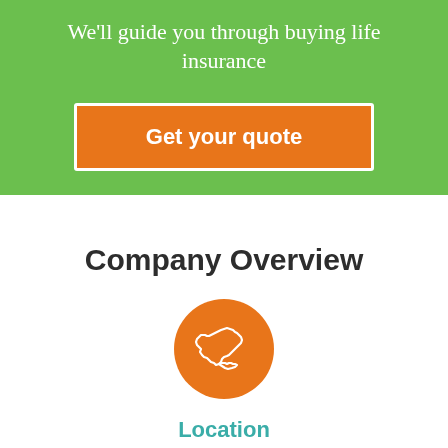We'll guide you through buying life insurance
Get your quote
Company Overview
[Figure (illustration): Orange circle with white outline map of New York state]
Location